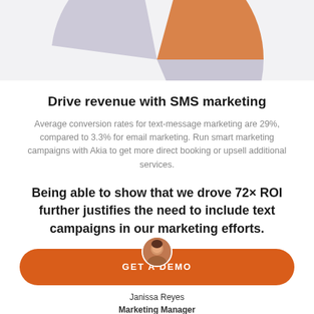[Figure (pie-chart): Partial view of a pie chart with orange and light gray/lavender segments, cropped at the top of the page]
Drive revenue with SMS marketing
Average conversion rates for text-message marketing are 29%, compared to 3.3% for email marketing. Run smart marketing campaigns with Akia to get more direct booking or upsell additional services.
Being able to show that we drove 72× ROI further justifies the need to include text campaigns in our marketing efforts.
[Figure (photo): Small circular avatar photo of Janissa Reyes, Marketing Manager, overlapping the GET A DEMO button]
GET A DEMO
Janissa Reyes
Marketing Manager